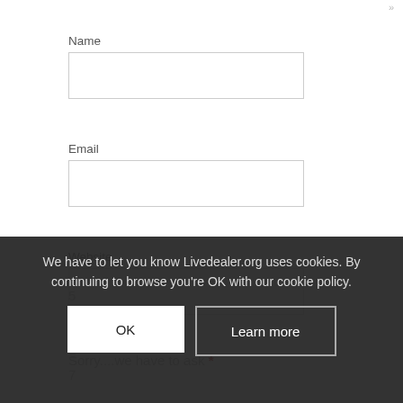»
Name
Email
Website
Sorry....we have to ask *
5
+
○
=
7
We have to let you know Livedealer.org uses cookies. By continuing to browse you're OK with our cookie policy.
OK
Learn more